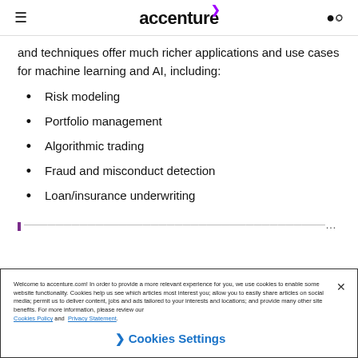accenture
and techniques offer much richer applications and use cases for machine learning and AI, including:
Risk modeling
Portfolio management
Algorithmic trading
Fraud and misconduct detection
Loan/insurance underwriting
Welcome to accenture.com! In order to provide a more relevant experience for you, we use cookies to enable some website functionality. Cookies help us see which articles most interest you; allow you to easily share articles on social media; permit us to deliver content, jobs and ads tailored to your interests and locations; and provide many other site benefits. For more information, please review our Cookies Policy and Privacy Statement.
Cookies Settings